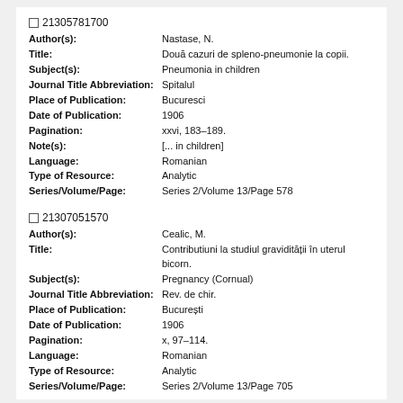21305781700
Author(s): Nastase, N.
Title: Două cazuri de spleno-pneumonie la copii.
Subject(s): Pneumonia in children
Journal Title Abbreviation: Spitalul
Place of Publication: Bucuresci
Date of Publication: 1906
Pagination: xxvi, 183-189.
Note(s): [... in children]
Language: Romanian
Type of Resource: Analytic
Series/Volume/Page: Series 2/Volume 13/Page 578
21307051570
Author(s): Cealic, M.
Title: Contributiuni la studiul gravidității în uterul bicorn.
Subject(s): Pregnancy (Cornual)
Journal Title Abbreviation: Rev. de chir.
Place of Publication: București
Date of Publication: 1906
Pagination: x, 97-114.
Language: Romanian
Type of Resource: Analytic
Series/Volume/Page: Series 2/Volume 13/Page 705
21308811500
Author(s): Herescu, P.
Title: Despre cancerul prostatei.
Subject(s): Prostate gland (Tumors of, Carcinomatous).